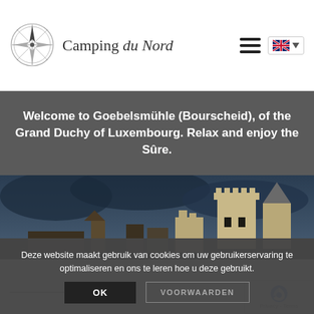[Figure (logo): Camping du Nord logo with compass rose and cursive text]
Welcome to Goebelsmühle (Bourscheid), of the Grand Duchy of Luxembourg. Relax and enjoy the Sûre.
[Figure (photo): Castle ruins silhouette against dark blue cloudy sky, Bourscheid castle]
Deze website maakt gebruik van cookies om uw gebruikerservaring te optimaliseren en ons te leren hoe u deze gebruikt.
OK
VOORWAARDEN